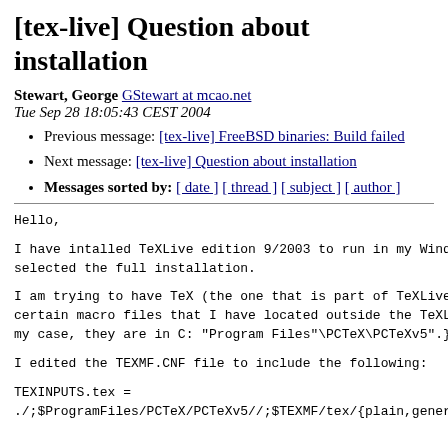[tex-live] Question about installation
Stewart, George GStewart at mcao.net
Tue Sep 28 18:05:43 CEST 2004
Previous message: [tex-live] FreeBSD binaries: Build failed
Next message: [tex-live] Question about installation
Messages sorted by: [ date ] [ thread ] [ subject ] [ author ]
Hello,
I have intalled TeXLive edition 9/2003 to run in my Windo selected the full installation.
I am trying to have TeX (the one that is part of TeXLive certain macro files that I have located outside the TeXLi my case, they are in C: "Program Files"\PCTeX\PCTeXv5".}
I edited the TEXMF.CNF file to include the following:
TEXINPUTS.tex =
./;$ProgramFiles/PCTeX/PCTeXv5//;$TEXMF/tex/{plain,generi